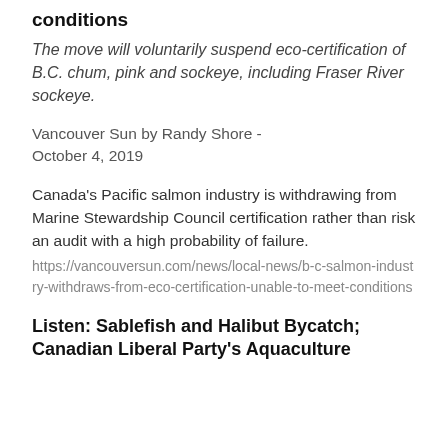conditions
The move will voluntarily suspend eco-certification of B.C. chum, pink and sockeye, including Fraser River sockeye.
Vancouver Sun by Randy Shore - October 4, 2019
Canada's Pacific salmon industry is withdrawing from Marine Stewardship Council certification rather than risk an audit with a high probability of failure.
https://vancouversun.com/news/local-news/b-c-salmon-industry-withdraws-from-eco-certification-unable-to-meet-conditions
Listen: Sablefish and Halibut Bycatch; Canadian Liberal Party's Aquaculture